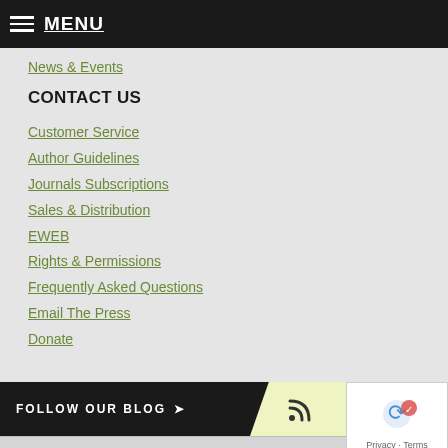MENU
News & Events
CONTACT US
Customer Service
Author Guidelines
Journals Subscriptions
Sales & Distribution
EWEB
Rights & Permissions
Frequently Asked Questions
Email The Press
Donate
FOLLOW OUR BLOG